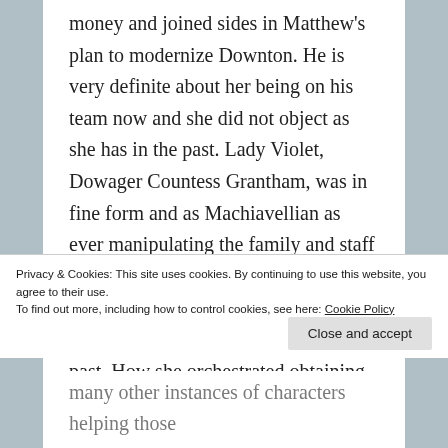money and joined sides in Matthew's plan to modernize Downton. He is very definite about her being on his team now and she did not object as she has in the past. Lady Violet, Dowager Countess Grantham, was in fine form and as Machiavellian as ever manipulating the family and staff into convincing Isobel Crawley that Ethel would be much happier living a new town where no one knew of her past. How she orchestrated obtaining a new position for Ethel by using so many different people to remove the source of scandal was disturbingly brilliant. I never thought I would
Privacy & Cookies: This site uses cookies. By continuing to use this website, you agree to their use.
To find out more, including how to control cookies, see here: Cookie Policy
Close and accept
many other instances of characters helping those